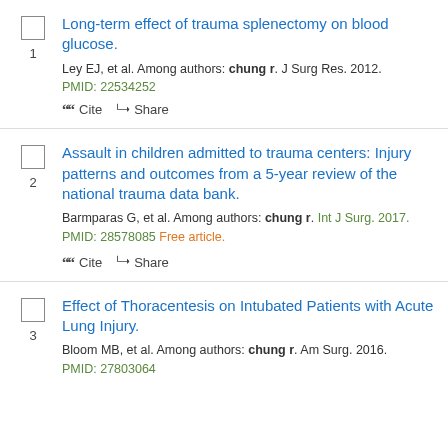1. Long-term effect of trauma splenectomy on blood glucose. Ley EJ, et al. Among authors: chung r. J Surg Res. 2012. PMID: 22534252
2. Assault in children admitted to trauma centers: Injury patterns and outcomes from a 5-year review of the national trauma data bank. Barmparas G, et al. Among authors: chung r. Int J Surg. 2017. PMID: 28578085 Free article.
3. Effect of Thoracentesis on Intubated Patients with Acute Lung Injury. Bloom MB, et al. Among authors: chung r. Am Surg. 2016. PMID: 27803064